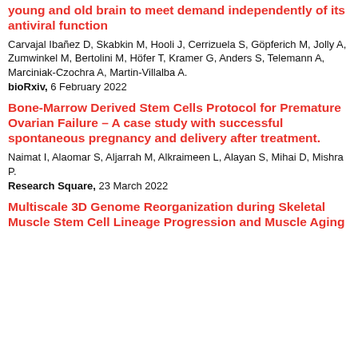young and old brain to meet demand independently of its antiviral function
Carvajal Ibañez D, Skabkin M, Hooli J, Cerrizuela S, Göpferich M, Jolly A, Zumwinkel M, Bertolini M, Höfer T, Kramer G, Anders S, Telemann A, Marciniak-Czochra A, Martin-Villalba A.
bioRxiv, 6 February 2022
Bone-Marrow Derived Stem Cells Protocol for Premature Ovarian Failure – A case study with successful spontaneous pregnancy and delivery after treatment.
Naimat I, Alaomar S, Aljarrah M, Alkraimeen L, Alayan S, Mihai D, Mishra P.
Research Square, 23 March 2022
Multiscale 3D Genome Reorganization during Skeletal Muscle Stem Cell Lineage Progression and Muscle Aging